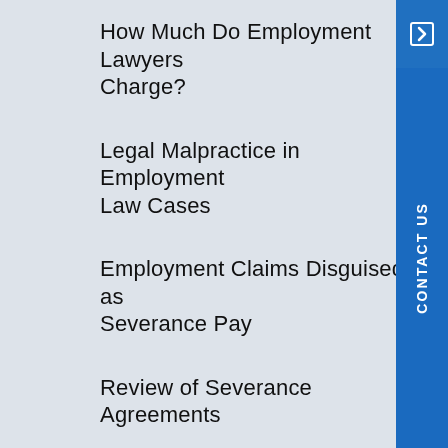How Much Do Employment Lawyers Charge?
Legal Malpractice in Employment Law Cases
Employment Claims Disguised as Severance Pay
Review of Severance Agreements
Severance Programs and Entitlement to Severance
Introduction to Severance
Mass Layoffs/WARN Act Cases